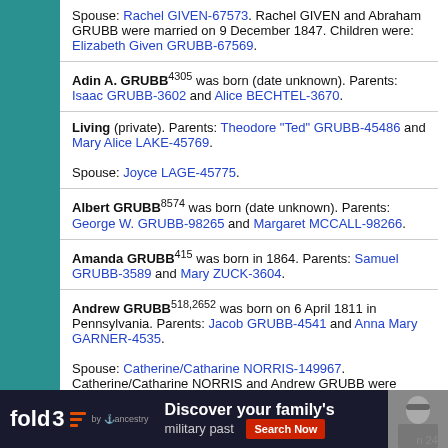Spouse: Rachel GIVEN-67573. Rachel GIVEN and Abraham GRUBB were married on 9 December 1847. Children were: Elizabeth Given GRUBB-67569.
Adin A. GRUBB⁴³⁰⁵ was born (date unknown). Parents: Isaac GRUBB-3602 and Alice BECHTEL-3670.
Living (private). Parents: Theodore "Ted" GRUBB-45486 and Mary Alice LAKE-45769.
Spouse: Joyce LAGE-45775.
Albert GRUBB⁸⁵⁷⁴ was born (date unknown). Parents: George W. GRUBB-98265 and Margaret MCCALL-98266.
Amanda GRUBB⁴¹⁵ was born in 1864. Parents: Samuel GRUBB-3589 and Mary ZUCK-3604.
Andrew GRUBB⁵¹⁸,²⁶⁵² was born on 6 April 1811 in Pennsylvania. Parents: Jacob GRUBB-4541 and Anna Mary GARNER-4535.
Spouse: Catherine/Catharine NORRIS-149967. Catherine/Catharine NORRIS and Andrew GRUBB were
fold3 by Ancestry — Discover your family's military past — Search Now — n 24